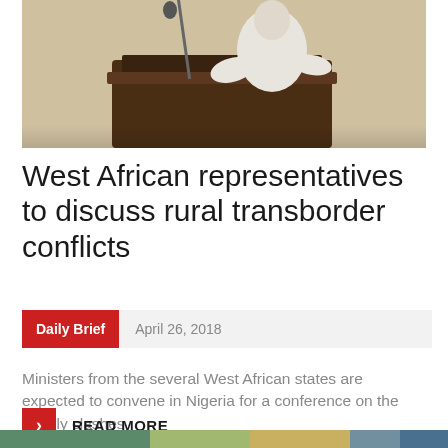[Figure (photo): A person dressed in white at a podium or lectern, viewed from the side. A microphone is visible. The background shows a wood-paneled setting.]
West African representatives to discuss rural transborder conflicts
Daily Brief  April 26, 2018
Ministers from the several West African states are expected to convene in Nigeria for a conference on the deadly clashes
READ MORE
[Figure (photo): Partial bottom image strip visible at the bottom of the page.]